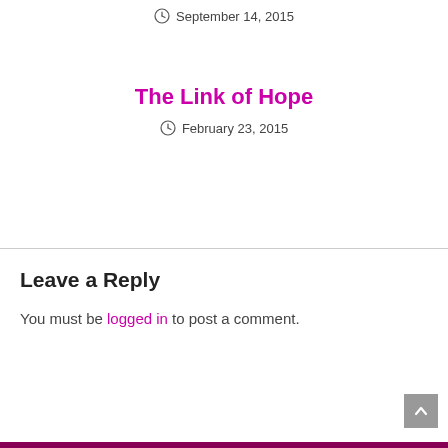September 14, 2015
The Link of Hope
February 23, 2015
Leave a Reply
You must be logged in to post a comment.